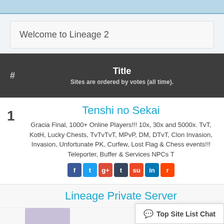Welcome to Lineage 2
| # | Title
Sites are ordered by votes (all time). |
| --- | --- |
Tenshi no Sekai
Gracia Final, 1000+ Online Players!!! 10x, 30x and 5000x. TvT, KotH, Lucky Chests, TvTvTvT, MPvP, DM, DTvT, Clon Invasion, Invasion, Unfortunate PK, Curfew, Lost Flag & Chess events!!! Teleporter, Buffer & Services NPCs T
Lineage Private Server
Top Site List Chat